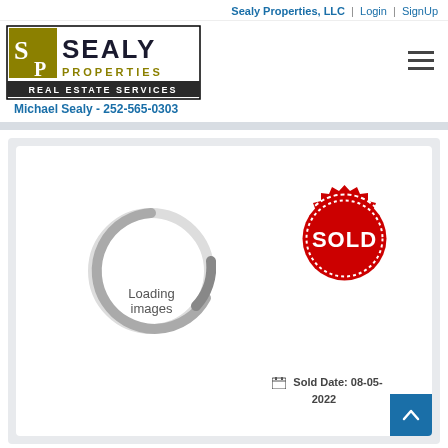Sealy Properties, LLC  |  Login  |  SignUp
[Figure (logo): Sealy Properties LLC logo — black and gold with SP initials and text SEALY PROPERTIES REAL ESTATE SERVICES]
Michael Sealy - 252-565-0303
[Figure (illustration): Property listing card showing a loading spinner with text 'Loading images' and a red SOLD stamp, with sold date 08-05-2022]
Sold Date: 08-05-2022